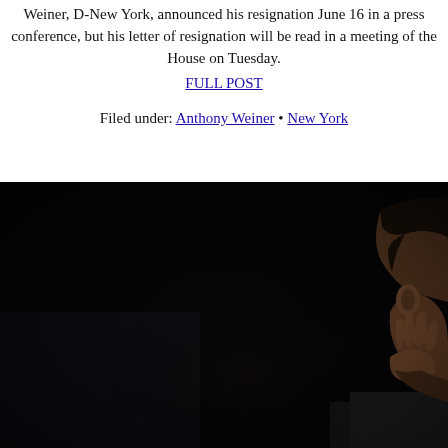Weiner, D-New York, announced his resignation June 16 in a press conference, but his letter of resignation will be read in a meeting of the House on Tuesday.
FULL POST
Filed under: Anthony Weiner • New York
[Figure (photo): Dark photograph showing a man's face in profile on the right side, hand raised near his chin, against a very dark/black background.]